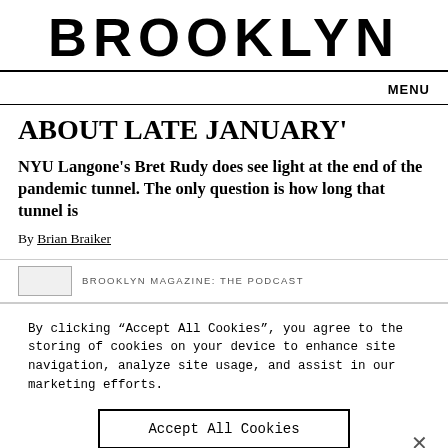BROOKLYN
MENU
ABOUT LATE JANUARY'
NYU Langone's Bret Rudy does see light at the end of the pandemic tunnel. The only question is how long that tunnel is
By Brian Braiker
BROOKLYN MAGAZINE: THE PODCAST
By clicking “Accept All Cookies”, you agree to the storing of cookies on your device to enhance site navigation, analyze site usage, and assist in our marketing efforts.
Accept All Cookies